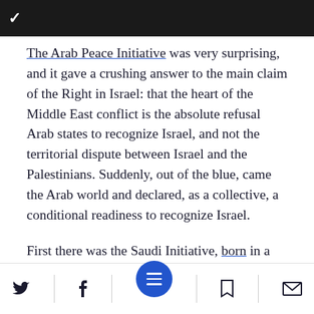✓
The Arab Peace Initiative was very surprising, and it gave a crushing answer to the main claim of the Right in Israel: that the heart of the Middle East conflict is the absolute refusal Arab states to recognize Israel, and not the territorial dispute between Israel and the Palestinians. Suddenly, out of the blue, came the Arab world and declared, as a collective, a conditional readiness to recognize Israel.
First there was the Saudi Initiative, born in a February 2002 interview that Saudi Arabia
Social share bar with Twitter, Facebook, menu, bookmark, and email icons